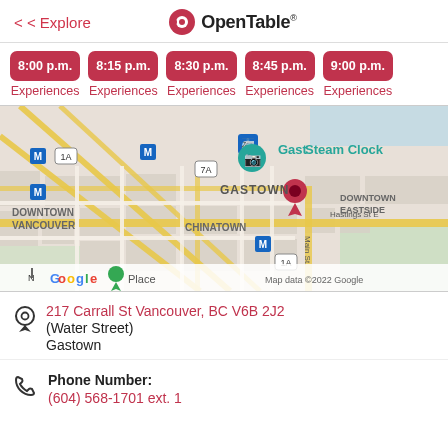< Explore | OpenTable
8:00 p.m. Experiences
8:15 p.m. Experiences
8:30 p.m. Experiences
8:45 p.m. Experiences
9:00 p.m. Experiences
[Figure (map): Google Map showing Gastown area in Vancouver, BC. Red location pin dropped in Gastown near Steam Clock. Surrounding neighborhoods shown: Downtown Vancouver, Chinatown, Downtown Eastside. Streets shown: Powell St, Hastings St E, Main St. Map data ©2022 Google.]
217 Carrall St Vancouver, BC V6B 2J2
(Water Street)
Gastown
Phone Number:
(604) 568-1701 ext. 1